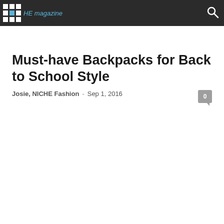NICHE magazine
Must-have Backpacks for Back to School Style
Josie, NICHE Fashion  -  Sep 1, 2016